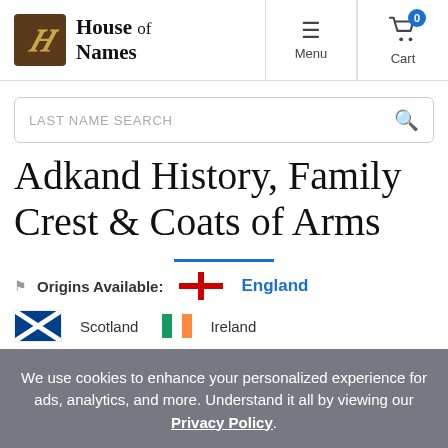House of Names — Menu | Cart
[Figure (screenshot): House of Names logo: brown square with gold gothic H, beside gothic text 'House of Names']
LAST NAME SEARCH
Adkand History, Family Crest & Coats of Arms
Origins Available: England
Scotland   Ireland
We use cookies to enhance your personalized experience for ads, analytics, and more. Understand it all by viewing our Privacy Policy.